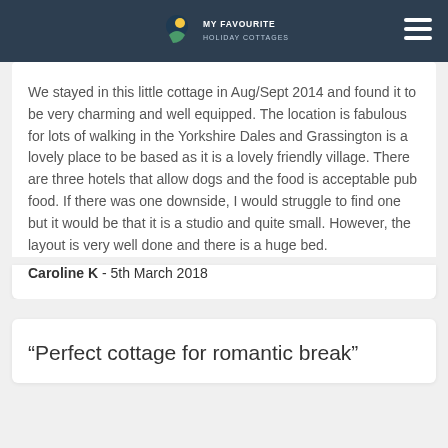MY FAVOURITE HOLIDAY COTTAGES
We stayed in this little cottage in Aug/Sept 2014 and found it to be very charming and well equipped. The location is fabulous for lots of walking in the Yorkshire Dales and Grassington is a lovely place to be based as it is a lovely friendly village. There are three hotels that allow dogs and the food is acceptable pub food. If there was one downside, I would struggle to find one but it would be that it is a studio and quite small. However, the layout is very well done and there is a huge bed.
Caroline K  -  5th March 2018
“Perfect cottage for romantic break”